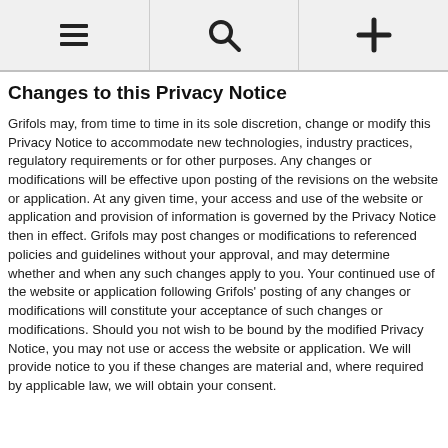≡ 🔍 +
Changes to this Privacy Notice
Grifols may, from time to time in its sole discretion, change or modify this Privacy Notice to accommodate new technologies, industry practices, regulatory requirements or for other purposes. Any changes or modifications will be effective upon posting of the revisions on the website or application. At any given time, your access and use of the website or application and provision of information is governed by the Privacy Notice then in effect. Grifols may post changes or modifications to referenced policies and guidelines without your approval, and may determine whether and when any such changes apply to you. Your continued use of the website or application following Grifols' posting of any changes or modifications will constitute your acceptance of such changes or modifications. Should you not wish to be bound by the modified Privacy Notice, you may not use or access the website or application. We will provide notice to you if these changes are material and, where required by applicable law, we will obtain your consent.